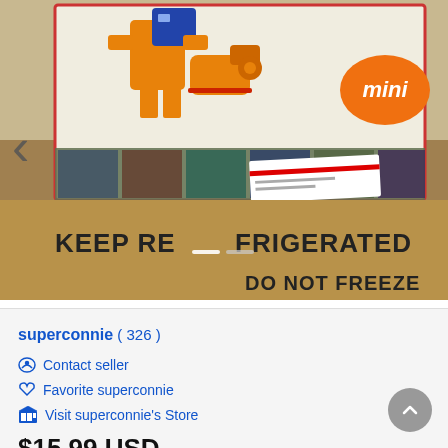[Figure (photo): eBay product listing photo showing a toy figure box with 'mini' badge and a cardboard shipping box with 'KEEP REFRIGERATED DO NOT FREEZE' text. Navigation arrow visible on left side. Navigation dots at bottom of image.]
superconnie ( 326 )
Contact seller
Favorite superconnie
Visit superconnie's Store
$15.99 USD